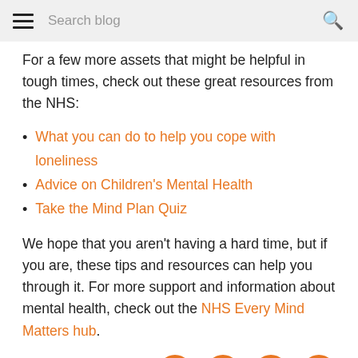Search blog
For a few more assets that might be helpful in tough times, check out these great resources from the NHS:
What you can do to help you cope with loneliness
Advice on Children's Mental Health
Take the Mind Plan Quiz
We hope that you aren't having a hard time, but if you are, these tips and resources can help you through it. For more support and information about mental health, check out the NHS Every Mind Matters hub.
[Figure (infographic): Social share icons: Facebook, Twitter, Pinterest, WhatsApp — orange circles with white icons]
Related Posts